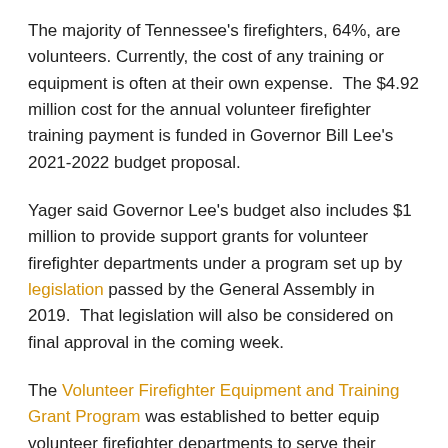The majority of Tennessee's firefighters, 64%, are volunteers. Currently, the cost of any training or equipment is often at their own expense.  The $4.92 million cost for the annual volunteer firefighter training payment is funded in Governor Bill Lee's 2021-2022 budget proposal.
Yager said Governor Lee's budget also includes $1 million to provide support grants for volunteer firefighter departments under a program set up by legislation passed by the General Assembly in 2019.  That legislation will also be considered on final approval in the coming week.
The Volunteer Firefighter Equipment and Training Grant Program was established to better equip volunteer firefighter departments to serve their communities and reduce fire fatalities, including those incurred by firefighters.